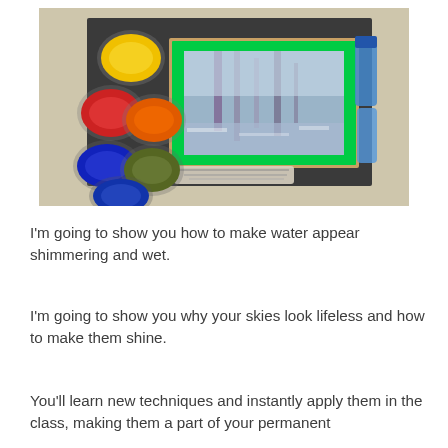[Figure (photo): Overhead view of a watercolor painting workspace showing a painting in progress with a bright green tape border on a dark mat board, surrounded by cups of paint (yellow, red, orange, blue, olive green, blue), paintbrushes, and paint tubes on a paint-splattered surface.]
I'm going to show you how to make water appear shimmering and wet.
I'm going to show you why your skies look lifeless and how to make them shine.
You'll learn new techniques and instantly apply them in the class, making them a part of your permanent